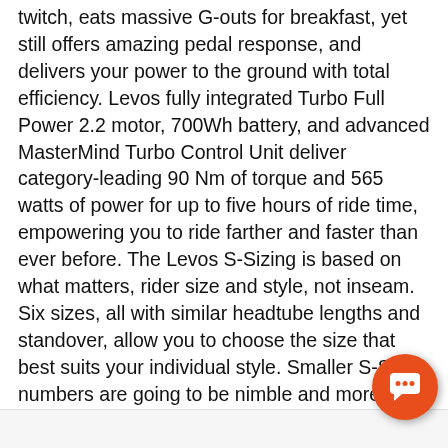twitch, eats massive G-outs for breakfast, yet still offers amazing pedal response, and delivers your power to the ground with total efficiency. Levos fully integrated Turbo Full Power 2.2 motor, 700Wh battery, and advanced MasterMind Turbo Control Unit deliver category-leading 90 Nm of torque and 565 watts of power for up to five hours of ride time, empowering you to ride farther and faster than ever before. The Levos S-Sizing is based on what matters, rider size and style, not inseam. Six sizes, all with similar headtube lengths and standover, allow you to choose the size that best suits your individual style. Smaller S-Size numbers are going to be nimble and more flickable, while bigger S-Sizes deliver more stability and a roomier ride. The MasterMind Turbo Control Unit is your information hub with customizable display fields, including the exact percentage of battery level, and it features our all-new MicroTune function to adjust power delivery in 10% increments, so you get exactly the support you need, experience precisely the ride you want.
[Figure (other): Orange circular chat button with speech bubble icon in bottom right corner]